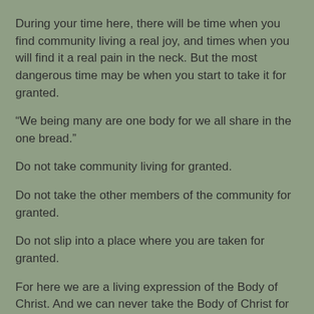During your time here, there will be time when you find community living a real joy, and times when you will find it a real pain in the neck. But the most dangerous time may be when you start to take it for granted.
“We being many are one body for we all share in the one bread.”
Do not take community living for granted.
Do not take the other members of the community for granted.
Do not slip into a place where you are taken for granted.
For here we are a living expression of the Body of Christ. And we can never take the Body of Christ for granted. It is a gift beyond cost.
Reading: